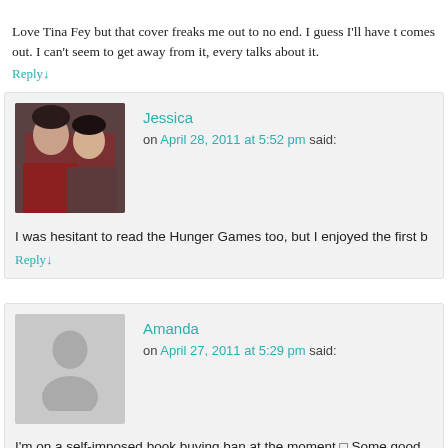Love Tina Fey but that cover freaks me out to no end. I guess I'll have t comes out. I can't seem to get away from it, every talks about it.
Reply↓
Jessica
on April 28, 2011 at 5:52 pm said:
I was hesitant to read the Hunger Games too, but I enjoyed the first b
Reply↓
Amanda
on April 27, 2011 at 5:29 pm said:
I'm on a self-imposed book buying ban at the moment  Some good bo
Reply↓